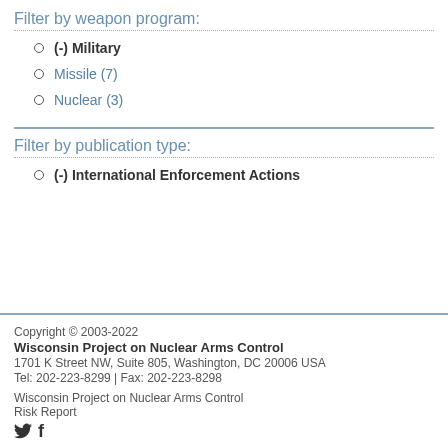Filter by weapon program:
(-) Military
Missile (7)
Nuclear (3)
Filter by publication type:
(-) International Enforcement Actions
Copyright © 2003-2022
Wisconsin Project on Nuclear Arms Control
1701 K Street NW, Suite 805, Washington, DC 20006 USA
Tel: 202-223-8299 | Fax: 202-223-8298
Wisconsin Project on Nuclear Arms Control
Risk Report